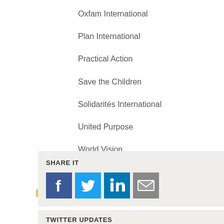Oxfam International
Plan International
Practical Action
Save the Children
Solidarités International
United Purpose
World Vision
VSO
Humanitarian
SHARE IT
TWITTER UPDATES